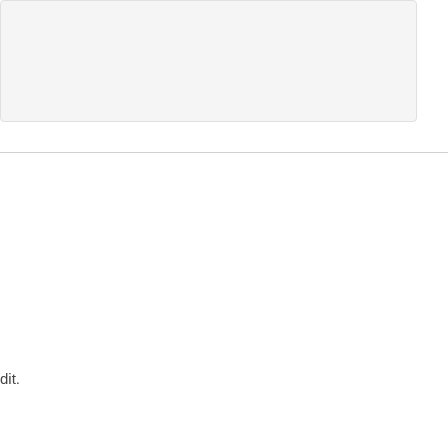[Figure (other): Light grey rounded rectangle box at the top of the page, partially visible]
dit.